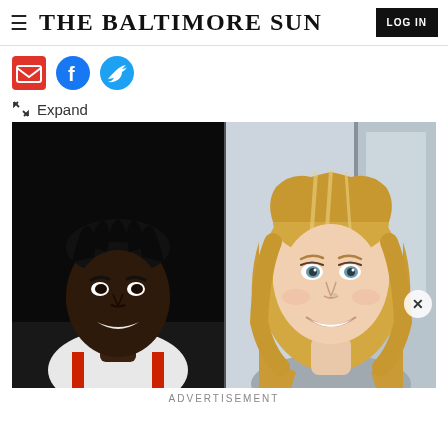≡ THE BALTIMORE SUN   LOG IN
[Figure (illustration): Social sharing icons: email (red), Facebook (blue), Twitter (blue)]
✕ Expand
[Figure (photo): Two side-by-side portrait photos: left shows a young Black male athlete wearing an orange and white jersey, smiling, against a dark background; right shows a young white female with long blonde hair, smiling, against a light indoor background.]
ADVERTISEMENT